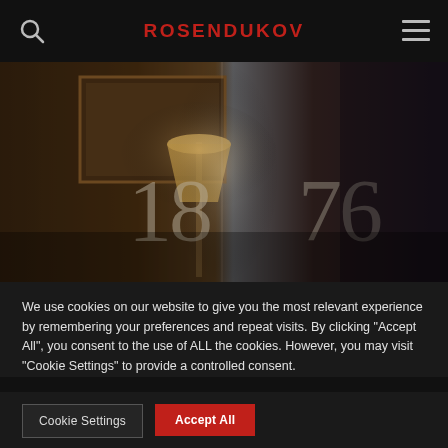ROSENDUKOV
[Figure (photo): Dark interior scene with a lamp and framed picture on the wall, overlaid with large translucent numbers 18 and 76]
We use cookies on our website to give you the most relevant experience by remembering your preferences and repeat visits. By clicking “Accept All”, you consent to the use of ALL the cookies. However, you may visit "Cookie Settings" to provide a controlled consent.
Cookie Settings
Accept All